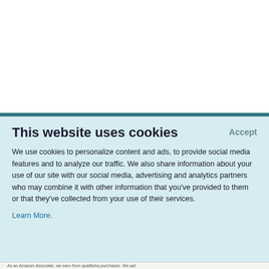This website uses cookies
Accept
We use cookies to personalize content and ads, to provide social media features and to analyze our traffic. We also share information about your use of our site with our social media, advertising and analytics partners who may combine it with other information that you've provided to them or that they've collected from your use of their services.
Learn More.
As an Amazon Associate, we earn from qualifying purchases. We get